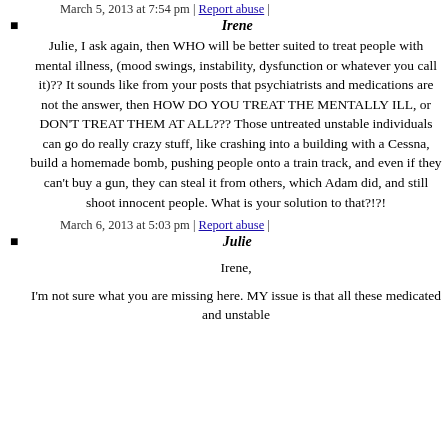March 5, 2013 at 7:54 pm | Report abuse |
Irene
Julie, I ask again, then WHO will be better suited to treat people with mental illness, (mood swings, instability, dysfunction or whatever you call it)?? It sounds like from your posts that psychiatrists and medications are not the answer, then HOW DO YOU TREAT THE MENTALLY ILL, or DON’T TREAT THEM AT ALL??? Those untreated unstable individuals can go do really crazy stuff, like crashing into a building with a Cessna, build a homemade bomb, pushing people onto a train track, and even if they can’t buy a gun, they can steal it from others, which Adam did, and still shoot innocent people. What is your solution to that?!?!
March 6, 2013 at 5:03 pm | Report abuse |
Julie
Irene,
I’m not sure what you are missing here. MY issue is that all these medicated and unstable